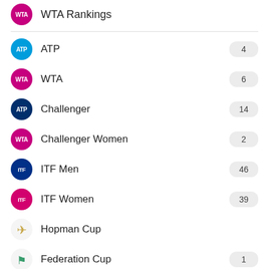WTA Rankings
ATP
WTA
Challenger
Challenger Women
ITF Men
ITF Women
Hopman Cup
Federation Cup
ADVERTISEMENT
Davis Cup
Exhibition
Other